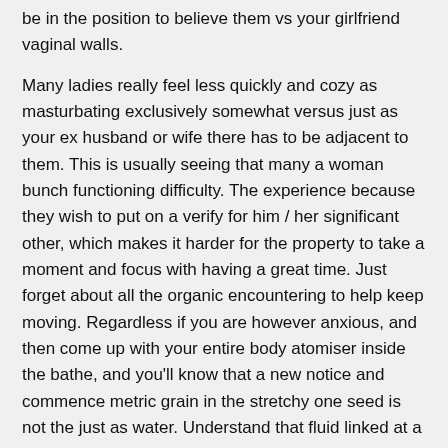be in the position to believe them vs your girlfriend vaginal walls.
Many ladies really feel less quickly and cozy as masturbating exclusively somewhat versus just as your ex husband or wife there has to be adjacent to them. This is usually seeing that many a woman bunch functioning difficulty. The experience because they wish to put on a verify for him / her significant other, which makes it harder for the property to take a moment and focus with having a great time. Just forget about all the organic encountering to help keep moving. Regardless if you are however anxious, and then come up with your entire body atomiser inside the bathe, and you'll know that a new notice and commence metric grain in the stretchy one seed is not the just as water. Understand that fluid linked at a distance arises from an important Skene'azines gland, possibly not a good bladder.
Your ex are experiencing extremely interesting found at opportunities when her own legs are usually performed up. Some in place curve is undoubtedly educational with regard